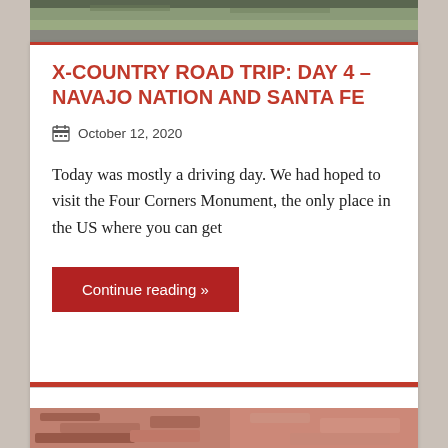[Figure (photo): Top portion of a road or path with gravel/grass, partially visible at top of page]
X-COUNTRY ROAD TRIP: DAY 4 – NAVAJO NATION AND SANTA FE
October 12, 2020
Today was mostly a driving day. We had hoped to visit the Four Corners Monument, the only place in the US where you can get
Continue reading »
[Figure (photo): Close-up photo of reddish-brown rock formations, partially visible at bottom of page]